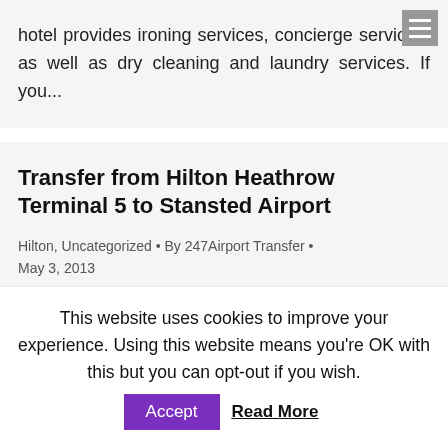hotel provides ironing services, concierge services, as well as dry cleaning and laundry services. If you...
Transfer from Hilton Heathrow Terminal 5 to Stansted Airport
Hilton, Uncategorized • By 247Airport Transfer • May 3, 2013
Transfer from Hilton Heathrow Terminal 5 to Stansted Airport Hilton London Heathrow
This website uses cookies to improve your experience. Using this website means you're OK with this but you can opt-out if you wish. Accept Read More